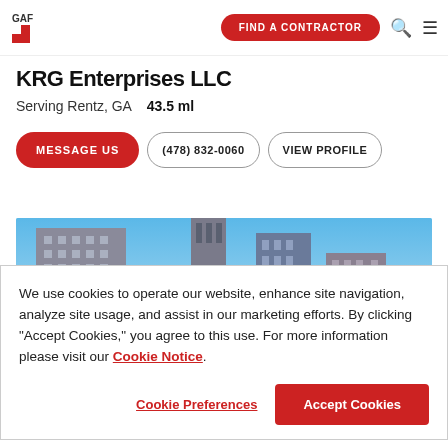GAF - FIND A CONTRACTOR
KRG Enterprises LLC
Serving Rentz, GA   43.5 ml
MESSAGE US  (478) 832-0060  VIEW PROFILE
[Figure (photo): City skyline with tall buildings and blue sky]
We use cookies to operate our website, enhance site navigation, analyze site usage, and assist in our marketing efforts. By clicking "Accept Cookies," you agree to this use. For more information please visit our Cookie Notice.
Cookie Preferences  Accept Cookies